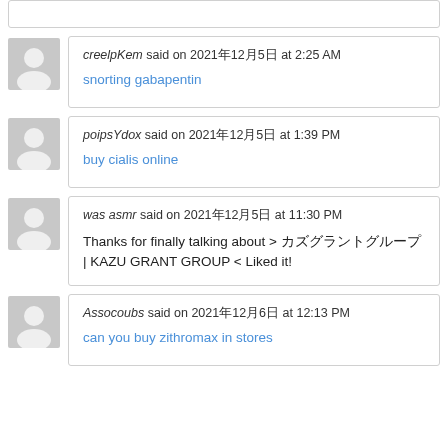creelpKem said on 2021年12月5日 at 2:25 AM
snorting gabapentin
poipsYdox said on 2021年12月5日 at 1:39 PM
buy cialis online
was asmr said on 2021年12月5日 at 11:30 PM
Thanks for finally talking about > カズグラントグループ | KAZU GRANT GROUP < Liked it!
Assocoubs said on 2021年12月6日 at 12:13 PM
can you buy zithromax in stores